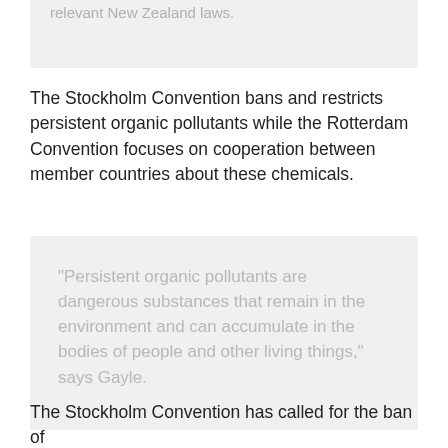relevant New Zealand laws.
The Stockholm Convention bans and restricts persistent organic pollutants while the Rotterdam Convention focuses on cooperation between member countries about these chemicals.
“Persistent organic pollutants are dangerous substances that remain in the environment and can accumulate in the bodies of people and other living things,” says Gayle.
The Stockholm Convention has called for the ban of